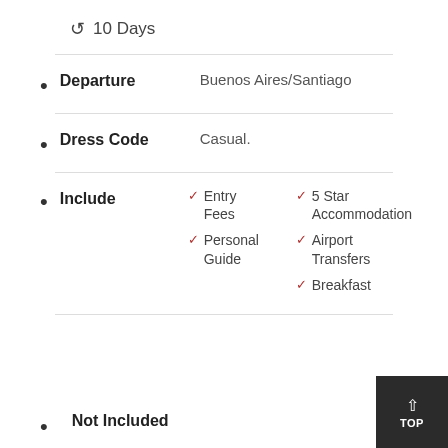↺  10 Days
Departure: Buenos Aires/Santiago
Dress Code: Casual.
Include: ✓ Entry Fees, ✓ Personal Guide, ✓ 5 Star Accommodation, ✓ Airport Transfers, ✓ Breakfast
Not Included